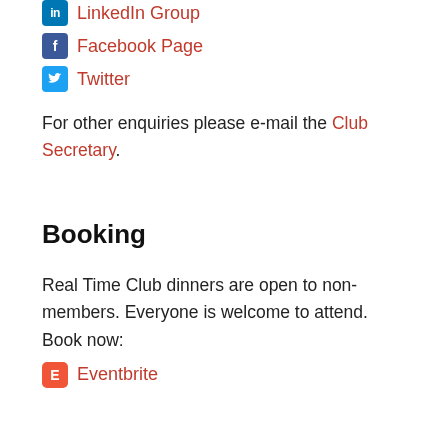LinkedIn Group
Facebook Page
Twitter
For other enquiries please e-mail the Club Secretary.
Booking
Real Time Club dinners are open to non-members. Everyone is welcome to attend. Book now:
Eventbrite